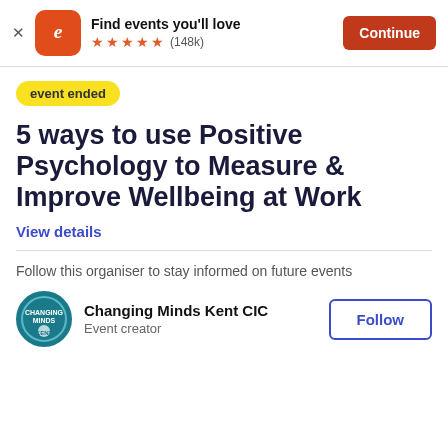[Figure (screenshot): Eventbrite app banner with orange logo, 'Find events you'll love' text, 5 stars (148k reviews), and a red Continue button]
event ended
5 ways to use Positive Psychology to Measure & Improve Wellbeing at Work
View details
Follow this organiser to stay informed on future events
Changing Minds Kent CIC
Event creator
Follow